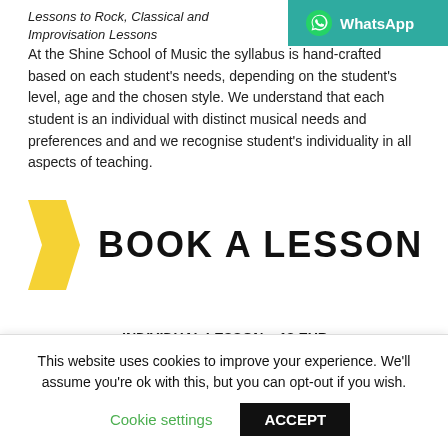Lessons to Rock, Classical and Improvisation Lessons
[Figure (logo): WhatsApp button with teal background and WhatsApp icon]
At the Shine School of Music the syllabus is hand-crafted based on each student's needs, depending on the student's level, age and the chosen style. We understand that each student is an individual with distinct musical needs and preferences and and we recognise student's individuality in all aspects of teaching.
[Figure (illustration): Yellow arrow/chevron shape pointing right alongside bold text BOOK A LESSON]
INDIVIDUAL LESSON – 18 EUR
(30 min private class)
This website uses cookies to improve your experience. We'll assume you're ok with this, but you can opt-out if you wish.
Cookie settings   ACCEPT